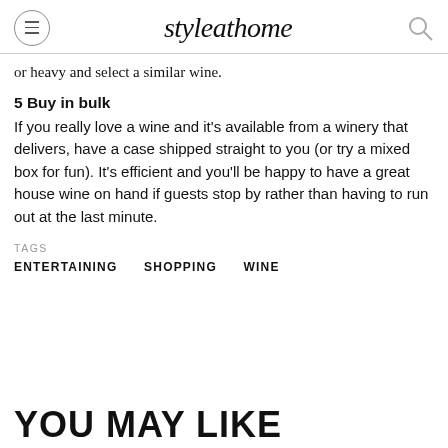styleathome
or heavy and select a similar wine.
5 Buy in bulk
If you really love a wine and it's available from a winery that delivers, have a case shipped straight to you (or try a mixed box for fun). It's efficient and you'll be happy to have a great house wine on hand if guests stop by rather than having to run out at the last minute.
TAGS
ENTERTAINING    SHOPPING    WINE
YOU MAY LIKE